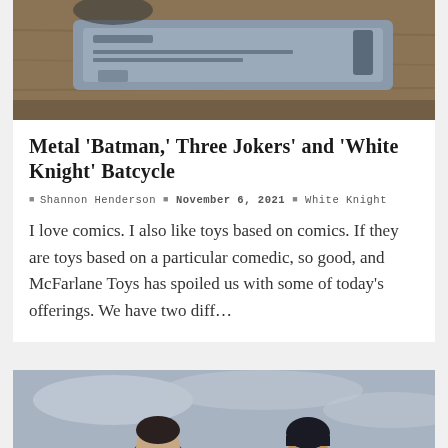[Figure (photo): Close-up photo of metal toy/prop items including what appears to be a Batmobile or similar Batman-related metal toy on a wooden surface]
Metal 'Batman,' Three Jokers' and 'White Knight' Batcycle
Shannon Henderson · November 6, 2021 · White Knight
I love comics. I also like toys based on comics. If they are toys based on a particular comedic, so good, and McFarlane Toys has spoiled us with some of today's offerings. We have two diff…
[Figure (photo): Photo of two people standing outdoors against a grey cloudy sky — a man with dark hair and beard wearing a red jacket, and a woman with dark hair wearing a dark beanie hat]